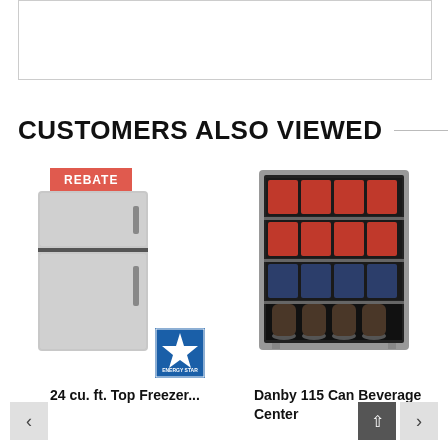[Figure (other): Empty white box with border at top of page]
CUSTOMERS ALSO VIEWED
[Figure (photo): Stainless steel top-freezer refrigerator with Energy Star badge and red REBATE label]
24 cu. ft. Top Freezer...
[Figure (photo): Danby beverage center filled with cans and wine bottles]
Danby 115 Can Beverage Center